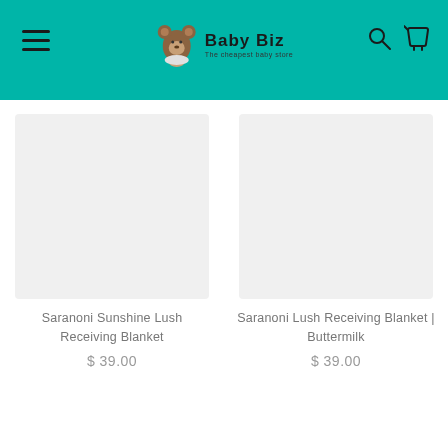Baby Biz - The cheapest baby store
[Figure (other): Product image placeholder for Saranoni Sunshine Lush Receiving Blanket]
Saranoni Sunshine Lush Receiving Blanket
$ 39.00
[Figure (other): Product image placeholder for Saranoni Lush Receiving Blanket | Buttermilk]
Saranoni Lush Receiving Blanket | Buttermilk
$ 39.00